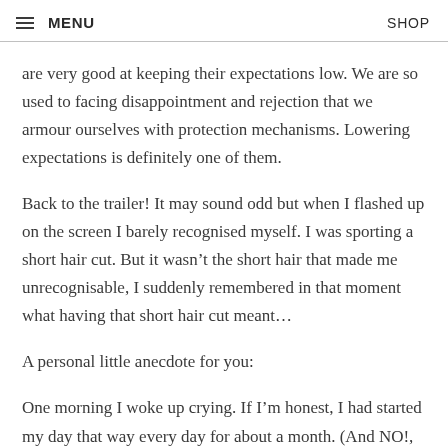MENU   SHOP
are very good at keeping their expectations low. We are so used to facing disappointment and rejection that we armour ourselves with protection mechanisms. Lowering expectations is definitely one of them.
Back to the trailer! It may sound odd but when I flashed up on the screen I barely recognised myself. I was sporting a short hair cut. But it wasn't the short hair that made me unrecognisable, I suddenly remembered in that moment what having that short hair cut meant...
A personal little anecdote for you:
One morning I woke up crying. If I'm honest, I had started my day that way every day for about a month. (And NO!, this is